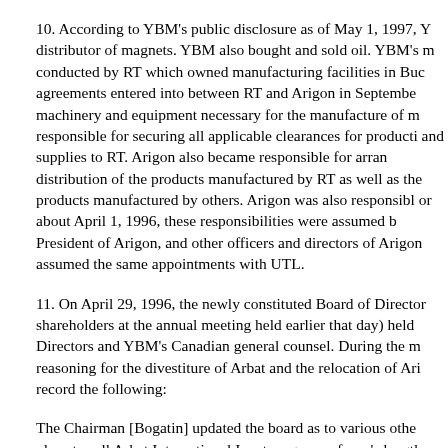10. According to YBM's public disclosure as of May 1, 1997, Y distributor of magnets. YBM also bought and sold oil. YBM's m conducted by RT which owned manufacturing facilities in Buc agreements entered into between RT and Arigon in Septembe machinery and equipment necessary for the manufacture of m responsible for securing all applicable clearances for producti and supplies to RT. Arigon also became responsible for arran distribution of the products manufactured by RT as well as the products manufactured by others. Arigon was also responsibl or about April 1, 1996, these responsibilities were assumed b President of Arigon, and other officers and directors of Arigon assumed the same appointments with UTL.
11. On April 29, 1996, the newly constituted Board of Director shareholders at the annual meeting held earlier that day) held Directors and YBM's Canadian general counsel. During the m reasoning for the divestiture of Arbat and the relocation of Ari record the following:
The Chairman [Bogatin] updated the board as to various othe plans to sell Arbat International Inc. to a group of arm's length approximately (US) $250,000. The Chairman indicated that th the Company's operations in Eastern Europe were difficult to potential liability. The Chairman confirmed that Arbat will cont Company but only on a contractual basis.